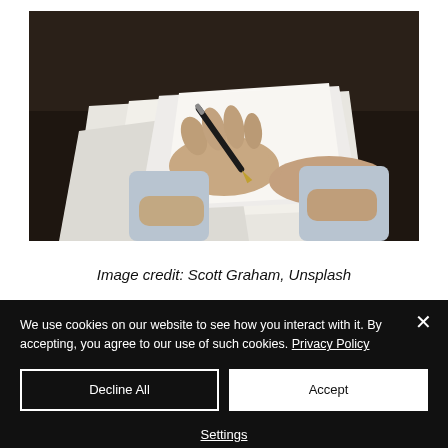[Figure (photo): A person signing documents at a desk, holding a pen over white papers, wearing a light blue shirt, dark wooden table background.]
Image credit: Scott Graham, Unsplash
We use cookies on our website to see how you interact with it. By accepting, you agree to our use of such cookies. Privacy Policy
Decline All
Accept
Settings